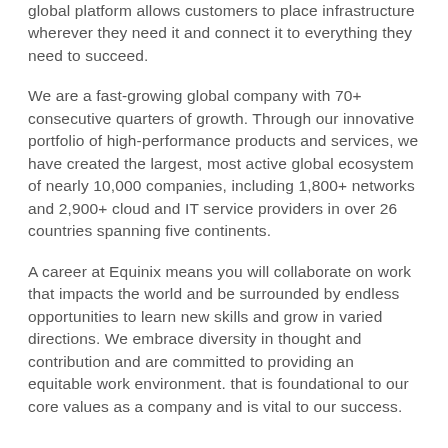global platform allows customers to place infrastructure wherever they need it and connect it to everything they need to succeed.
We are a fast-growing global company with 70+ consecutive quarters of growth. Through our innovative portfolio of high-performance products and services, we have created the largest, most active global ecosystem of nearly 10,000 companies, including 1,800+ networks and 2,900+ cloud and IT service providers in over 26 countries spanning five continents.
A career at Equinix means you will collaborate on work that impacts the world and be surrounded by endless opportunities to learn new skills and grow in varied directions. We embrace diversity in thought and contribution and are committed to providing an equitable work environment. that is foundational to our core values as a company and is vital to our success.